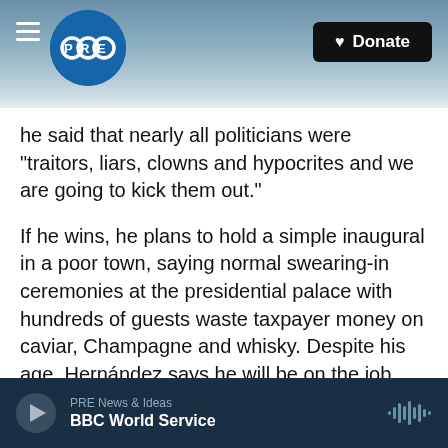PRE | Donate
he said that nearly all politicians were "traitors, liars, clowns and hypocrites and we are going to kick them out."
If he wins, he plans to hold a simple inaugural in a poor town, saying normal swearing-in ceremonies at the presidential palace with hundreds of guests waste taxpayer money on caviar, Champagne and whisky. Despite his age, Hernández says he will be on the job from dawn until dusk to cram 5 1/2 years of work into a four-year presidential term.
"Colombia is a beautiful country that has been run
PRE News & Ideas | BBC World Service